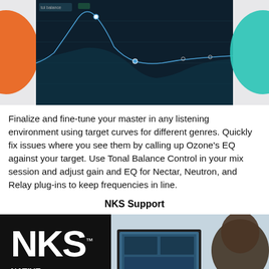[Figure (screenshot): Screenshot of audio software showing EQ curve on dark background, with orange pill shape on left and teal pill shape on right]
Finalize and fine-tune your master in any listening environment using target curves for different genres. Quickly fix issues where you see them by calling up Ozone's EQ against your target. Use Tonal Balance Control in your mix session and adjust gain and EQ for Nectar, Neutron, and Relay plug-ins to keep frequencies in line.
NKS Support
[Figure (photo): Photo of a music producer at a studio desk looking at a monitor showing audio software, with NKS Native Kontrol Standard logo on the left side]